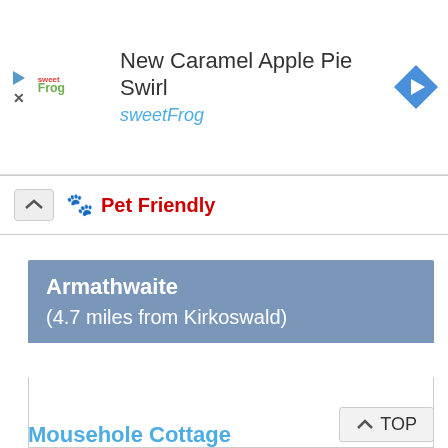[Figure (screenshot): Advertisement banner for sweetFrog with logo, title 'New Caramel Apple Pie Swirl', subtitle 'sweetFrog', and navigation arrow icon]
Pet Friendly
Armathwaite
(4.7 miles from Kirkoswald)
TOP
Mousehole Cottage